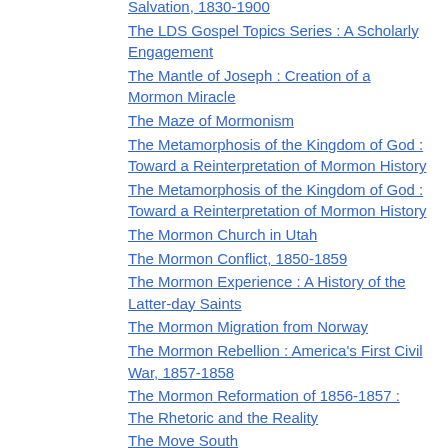Salvation, 1830-1900
The LDS Gospel Topics Series : A Scholarly Engagement
The Mantle of Joseph : Creation of a Mormon Miracle
The Maze of Mormonism
The Metamorphosis of the Kingdom of God : Toward a Reinterpretation of Mormon History
The Metamorphosis of the Kingdom of God : Toward a Reinterpretation of Mormon History
The Mormon Church in Utah
The Mormon Conflict, 1850-1859
The Mormon Experience : A History of the Latter-day Saints
The Mormon Migration from Norway
The Mormon Rebellion : America's First Civil War, 1857-1858
The Mormon Reformation of 1856-1857 :
The Rhetoric and the Reality
The Move South